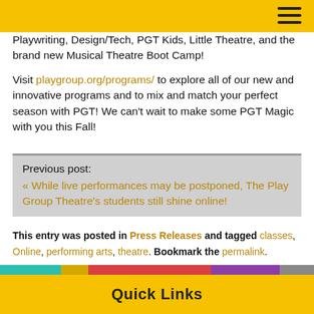[header bar with hamburger menu]
Playwriting, Design/Tech, PGT Kids, Little Theatre, and the brand new Musical Theatre Boot Camp!
Visit playgroup.org/programs/ to explore all of our new and innovative programs and to mix and match your perfect season with PGT! We can't wait to make some PGT Magic with you this Fall!
Previous post:
« While live performances may be postponed, The Play Group Theatre's students still shine online!
This entry was posted in Press Releases and tagged classes, Online, performing arts, theatre. Bookmark the permalink.
Quick Links